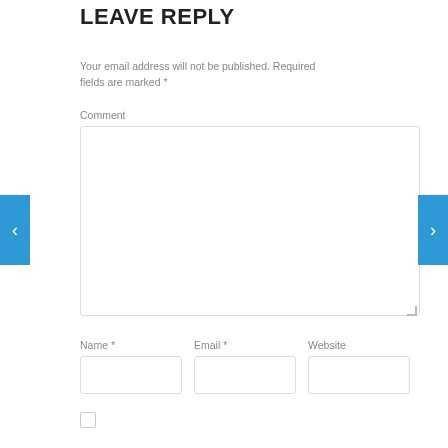LEAVE REPLY
Your email address will not be published. Required fields are marked *
Comment
[Figure (screenshot): Comment text area input box, empty, with resize handle at bottom right]
Name * Email * Website
[Figure (screenshot): Three input fields: Name, Email, Website]
[Figure (screenshot): Unchecked checkbox]